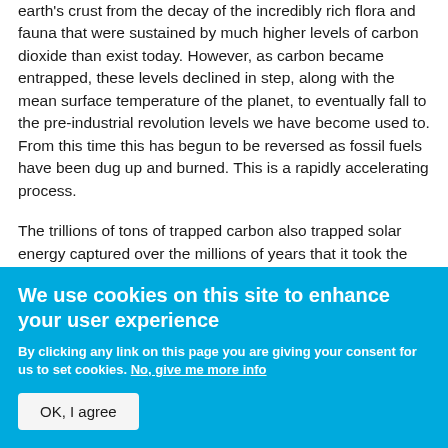earth's crust from the decay of the incredibly rich flora and fauna that were sustained by much higher levels of carbon dioxide than exist today. However, as carbon became entrapped, these levels declined in step, along with the mean surface temperature of the planet, to eventually fall to the pre-industrial revolution levels we have become used to. From this time this has begun to be reversed as fossil fuels have been dug up and burned. This is a rapidly accelerating process.
The trillions of tons of trapped carbon also trapped solar energy captured over the millions of years that it took the carbon deposits to
We use cookies on this site to enhance your user experience
By clicking any link on this page you are giving your consent for us to set cookies. No, give me more info
OK, I agree